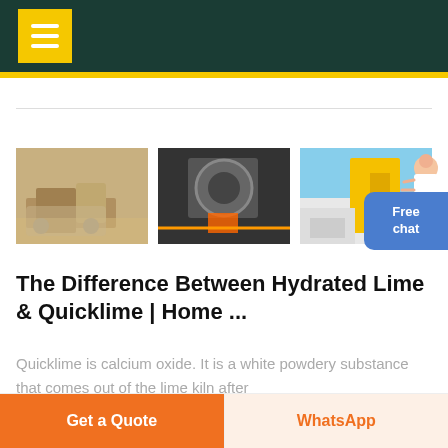Navigation menu header with yellow menu button
[Figure (photo): Three industrial mining/crushing machine photos side by side]
[Figure (illustration): Customer service avatar figure with blue Free chat button]
The Difference Between Hydrated Lime & Quicklime | Home ...
Quicklime is calcium oxide. It is a white powdery substance that comes out of the lime kiln after
Get a Quote   WhatsApp